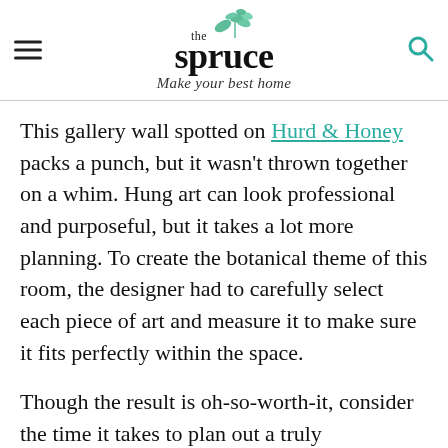the spruce — Make your best home
This gallery wall spotted on Hurd & Honey packs a punch, but it wasn't thrown together on a whim. Hung art can look professional and purposeful, but it takes a lot more planning. To create the botanical theme of this room, the designer had to carefully select each piece of art and measure it to make sure it fits perfectly within the space.
Though the result is oh-so-worth-it, consider the time it takes to plan out a truly showstopping hanging gallery wall when considering whether to grab that hammer.